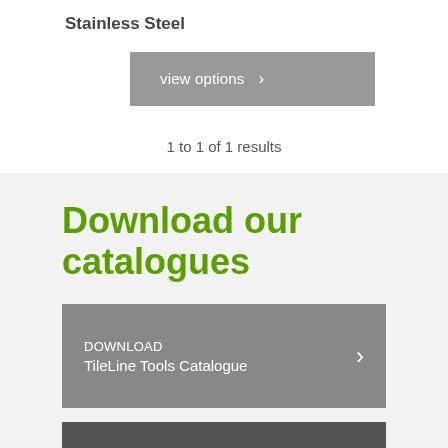Stainless Steel
view options >
1 to 1 of 1 results
Download our catalogues
DOWNLOAD
TileLine Tools Catalogue >